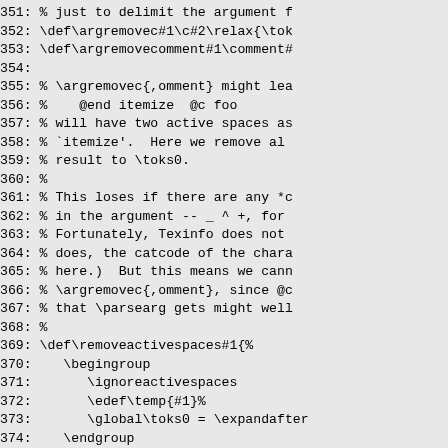351: % just to delimit the argument f
352: \def\argremovec#1\c#2\relax{\tok
353: \def\argremovecomment#1\comment#
354:
355: % \argremovec{,omment} might lea
356: %    @end itemize  @c foo
357: % will have two active spaces as
358: % `itemize'.  Here we remove al
359: % result to \toks0.
360: %
361: % This loses if there are any *c
362: % in the argument -- _ ^ +, for
363: % Fortunately, Texinfo does not
364: % does, the catcode of the chara
365: % here.)  But this means we cann
366: % \argremovec{,omment}, since @c
367: % that \parsearg gets might well
368: %
369: \def\removeactivespaces#1{%
370:    \begingroup
371:       \ignoreactivespaces
372:       \edef\temp{#1}%
373:       \global\toks0 = \expandafter
374:    \endgroup
375: }
376:
377: % Change the active space to exp
378: %
379: \begingroup
380:    \obeyspaces